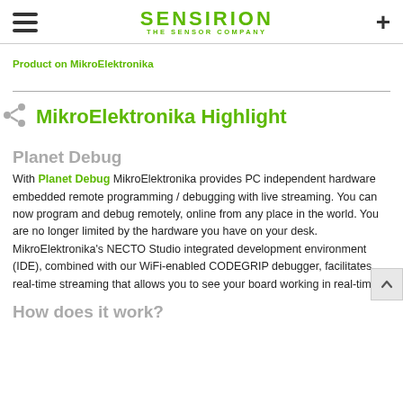SENSIRION THE SENSOR COMPANY
Product on MikroElektronika
MikroElektronika Highlight
Planet Debug
With Planet Debug MikroElektronika provides PC independent hardware embedded remote programming / debugging with live streaming. You can now program and debug remotely, online from any place in the world. You are no longer limited by the hardware you have on your desk. MikroElektronika's NECTO Studio integrated development environment (IDE), combined with our WiFi-enabled CODEGRIP debugger, facilitates real-time streaming that allows you to see your board working in real-time.